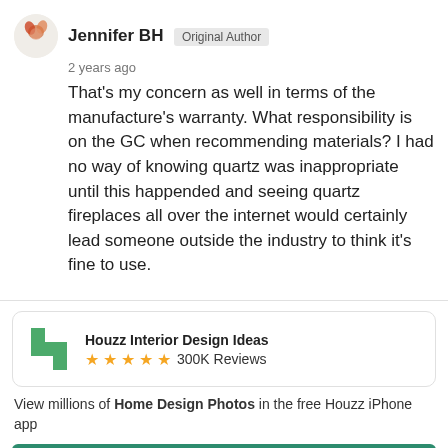Jennifer BH  Original Author
2 years ago
That's my concern as well in terms of the manufacture's warranty. What responsibility is on the GC when recommending materials? I had no way of knowing quartz was inappropriate until this happended and seeing quartz fireplaces all over the internet would certainly lead someone outside the industry to think it's fine to use.
[Figure (infographic): Houzz Interior Design Ideas app promo with green logo icon, 5 stars, 300K Reviews, and Continue button]
View millions of Home Design Photos in the free Houzz iPhone app
Continue
Go to Mobile Site